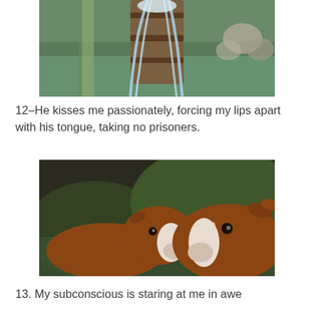[Figure (photo): A water fountain with water cascading down over a rusty barrel-shaped structure, with rocks and greenery visible in the background.]
12–He kisses me passionately, forcing my lips apart with his tongue, taking no prisoners.
[Figure (photo): Two brown and white calves facing each other with one licking or touching the other's mouth with its tongue, photographed outdoors with green background.]
13. My subconscious is staring at me in awe